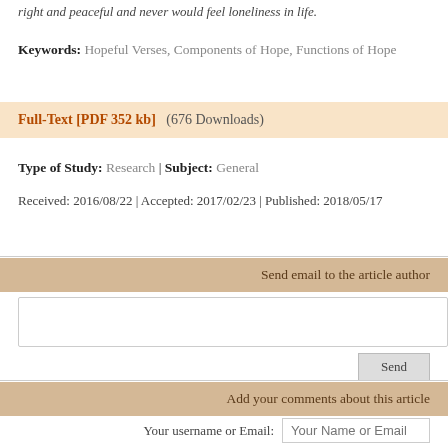right and peaceful and never would feel loneliness in life.
Keywords: Hopeful Verses, Components of Hope, Functions of Hope
Full-Text [PDF 352 kb]   (676 Downloads)
Type of Study: Research | Subject: General
Received: 2016/08/22 | Accepted: 2017/02/23 | Published: 2018/05/17
Send email to the article author
Add your comments about this article
Your username or Email: